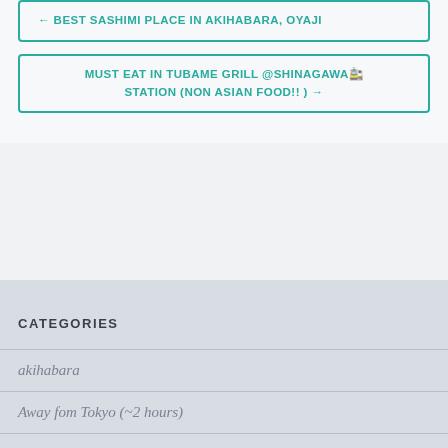← BEST SASHIMI PLACE IN AKIHABARA, OYAJI
MUST EAT IN TUBAME GRILL @SHINAGAWA🚉 STATION (NON ASIAN FOOD!! ) →
CATEGORIES
akihabara
Away fom Tokyo (~2 hours)
Central Tokyo
Chinese food